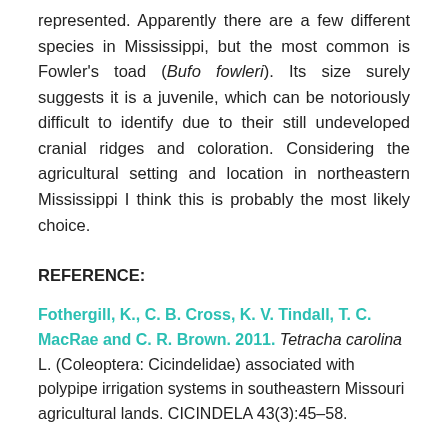represented. Apparently there are a few different species in Mississippi, but the most common is Fowler's toad (Bufo fowleri). Its size surely suggests it is a juvenile, which can be notoriously difficult to identify due to their still undeveloped cranial ridges and coloration. Considering the agricultural setting and location in northeastern Mississippi I think this is probably the most likely choice.
REFERENCE:
Fothergill, K., C. B. Cross, K. V. Tindall, T. C. MacRae and C. R. Brown. 2011. Tetracha carolina L. (Coleoptera: Cicindelidae) associated with polypipe irrigation systems in southeastern Missouri agricultural lands. CICINDELA 43(3):45–58.